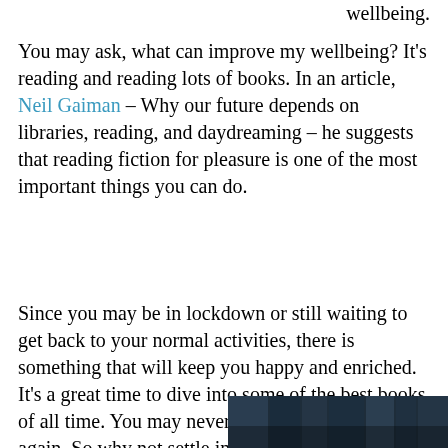wellbeing.
You may ask, what can improve my wellbeing? It's reading and reading lots of books. In an article, Neil Gaiman – Why our future depends on libraries, reading, and daydreaming – he suggests that reading fiction for pleasure is one of the most important things you can do.
Since you may be in lockdown or still waiting to get back to your normal activities, there is something that will keep you happy and enriched.   It's a great time to dive into some of the best books of all time. You may never have this much time again. So why not settle in with the wild, wonderful world of great books.
[Figure (photo): Partial photo of books or a library scene, dark-toned image visible at bottom right of page]